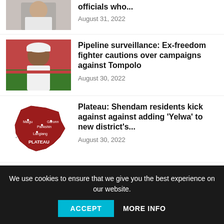[Figure (photo): Partial view of a person in white clothing, cropped at top]
officials who...
August 31, 2022
[Figure (photo): Man in white cap with red background]
Pipeline surveillance: Ex-freedom fighter cautions over campaigns against Tompolo
August 30, 2022
[Figure (map): Red map shape of Plateau state, Nigeria, with district labels]
Plateau: Shendam residents kick against against adding 'Yelwa' to new district's...
August 30, 2022
[Figure (photo): Partial photo of two people, cropped at bottom]
War: Russia identifies second
We use cookies to ensure that we give you the best experience on our website.
ACCEPT
MORE INFO